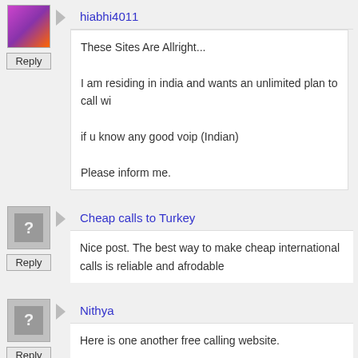hiabhi4011
Reply
These Sites Are Allright...

I am residing in india and wants an unlimited plan to call wi...

if u know any good voip (Indian)

Please inform me.
Cheap calls to Turkey
Reply
Nice post. The best way to make cheap international calls is reliable and afrodable
Nithya
Reply
Here is one another free calling website.

www. fillncall.com